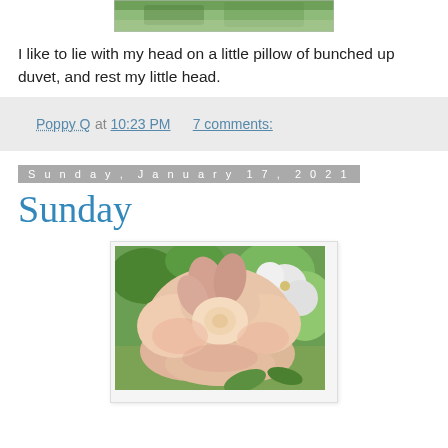[Figure (photo): Top portion of a photo, partially cropped, showing a cat or pet lying on a surface (visible at top of page, partially cut off)]
I like to lie with my head on a little pillow of bunched up duvet, and rest my little head.
Poppy Q at 10:23 PM   7 comments:
Sunday, January 17, 2021
Sunday
[Figure (photo): Close-up photograph of a pale pink and cream rose in bloom, with green foliage and white flowers visible in the background.]